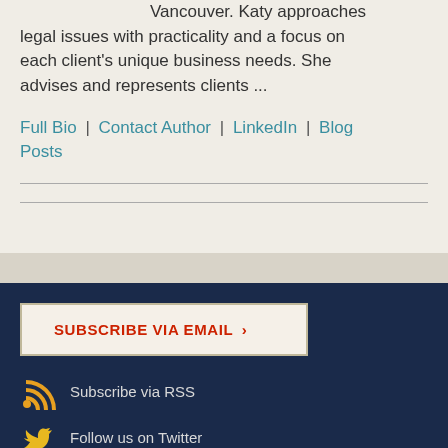Vancouver. Katy approaches legal issues with practicality and a focus on each client's unique business needs. She advises and represents clients ...
Full Bio | Contact Author | LinkedIn | Blog Posts
Subscribe via RSS
Follow us on Twitter